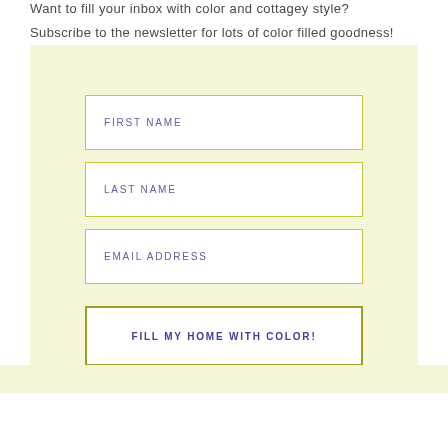Want to fill your inbox with color and cottagey style?
Subscribe to the newsletter for lots of color filled goodness!
[Figure (other): Newsletter signup form with light yellow background, containing three white input fields labeled FIRST NAME, LAST NAME, EMAIL ADDRESS, and a button labeled FILL MY HOME WITH COLOR!]
FIRST NAME
LAST NAME
EMAIL ADDRESS
FILL MY HOME WITH COLOR!